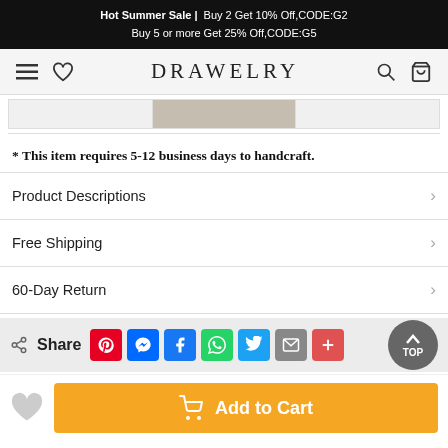Hot Summer Sale | Buy 2 Get 10% Off,CODE:G2 Buy 5 or more Get 25% Off,CODE:G5
[Figure (logo): Drawelry website navigation bar with hamburger menu, heart icon, DRAWELRY logo, search and cart icons]
[Figure (photo): Product image thumbnail strip showing three thumbnails, middle one selected]
* This item requires 5-12 business days to handcraft.
Product Descriptions
Free Shipping
60-Day Return
Share
[Figure (infographic): Social share buttons: Pinterest, Messenger, Facebook, WhatsApp, Twitter, Email, More. TOP scroll-to-top button.]
[Figure (infographic): Bottom bar with heart wishlist icon and orange Add to Cart button with cart icon]